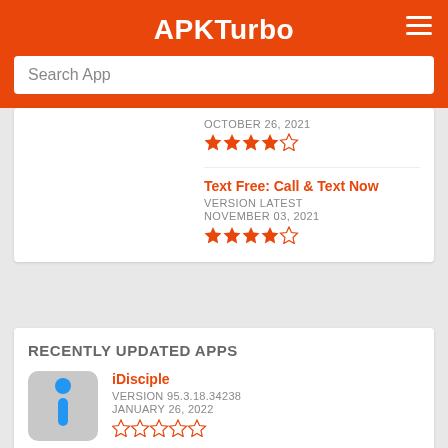APKTurbo
Search App
OCTOBER 26, 2021
★★★★☆
Text Free: Call & Text Now
VERSION LATEST
NOVEMBER 03, 2021
★★★★☆
RECENTLY UPDATED APPS
iDisciple
VERSION 95.3.18.34238
JANUARY 26, 2022
☆☆☆☆☆
Laudate